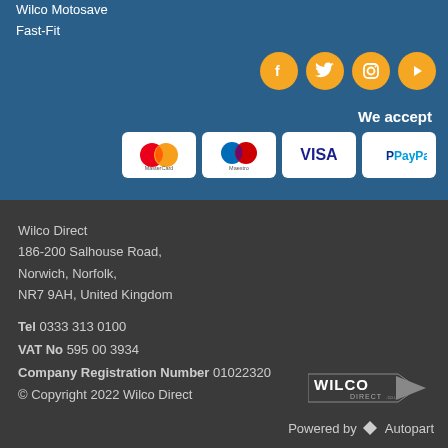Wilco Motosave
Fast-Fit
[Figure (other): Social media icons: Facebook, Twitter, Instagram, YouTube — circular orange buttons]
We accept
[Figure (other): Payment method logos: MasterCard, Maestro, VISA, PayPal]
Wilco Direct
186-200 Salhouse Road,
Norwich, Norfolk,
NR7 9AH, United Kingdom
Tel 0333 313 0100
VAT No 595 00 3934
Company Registration Number 01022320
© Copyright 2022 Wilco Direct
[Figure (logo): Wilco Direct logo with arrow shape]
Powered by Autopart